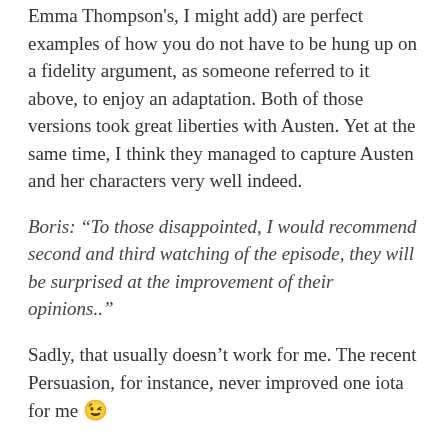Emma Thompson's, I might add) are perfect examples of how you do not have to be hung up on a fidelity argument, as someone referred to it above, to enjoy an adaptation. Both of those versions took great liberties with Austen. Yet at the same time, I think they managed to capture Austen and her characters very well indeed.
Boris: “To those disappointed, I would recommend second and third watching of the episode, they will be surprised at the improvement of their opinions..”
Sadly, that usually doesn’t work for me. The recent Persuasion, for instance, never improved one iota for me 😉
I won’t say this Emma isn’t worth watching. But, for me personally and in spite of my